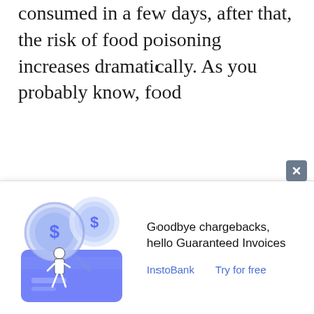consumed in a few days, after that, the risk of food poisoning increases dramatically. As you probably know, food
[Figure (illustration): Advertisement banner showing a cartoon person with large coins and a credit card, illustrating financial technology. Contains close button in top-right corner.]
Goodbye chargebacks, hello Guaranteed Invoices
InstoBank    Try for free